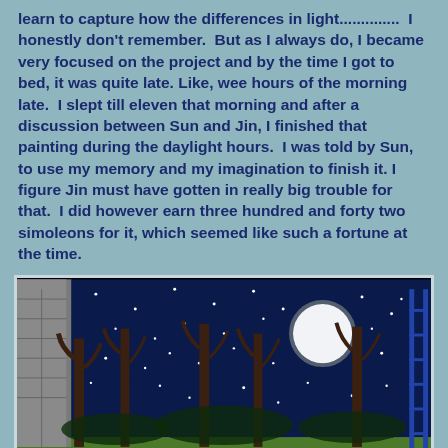learn to capture how the differences in light..............  I honestly don't remember.  But as I always do, I became very focused on the project and by the time I got to bed, it was quite late. Like, wee hours of the morning late.  I slept till eleven that morning and after a discussion between Sun and Jin, I finished that painting during the daylight hours.  I was told by Sun, to use my memory and my imagination to finish it. I figure Jin must have gotten in really big trouble for that.  I did however earn three hundred and forty two simoleons for it, which seemed like such a fortune at the time.
[Figure (illustration): A nighttime scene painting showing dark trees silhouetted against a deep blue starry sky with a bright full moon, and a stone structure on the left side. A blue ladder is visible on the right edge. Green grass at the bottom.]